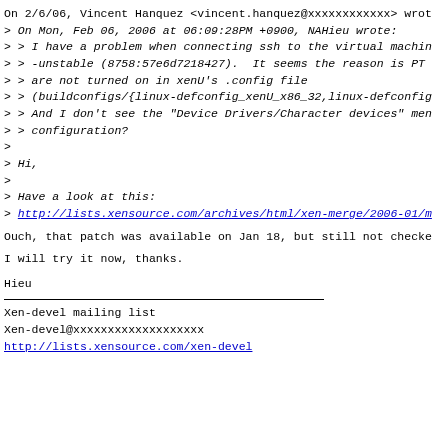On 2/6/06, Vincent Hanquez <vincent.hanquez@xxxxxxxxxxxx> wrot
> On Mon, Feb 06, 2006 at 06:09:28PM +0900, NAHieu wrote:
> > I have a problem when connecting ssh to the virtual machin
> > -unstable (8758:57e6d7218427).  It seems the reason is PT
> > are not turned on in xenU's .config file
> > (buildconfigs/{linux-defconfig_xenU_x86_32,linux-defconfig
> > And I don't see the "Device Drivers/Character devices" men
> > configuration?
>
> Hi,
>
> Have a look at this:
> http://lists.xensource.com/archives/html/xen-merge/2006-01/m
Ouch, that patch was available on Jan 18, but still not checke
I will try it now, thanks.
Hieu
Xen-devel mailing list
Xen-devel@xxxxxxxxxxxxxxxxxxx
http://lists.xensource.com/xen-devel